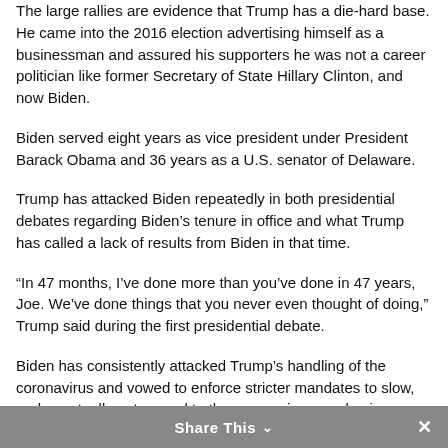The large rallies are evidence that Trump has a die-hard base. He came into the 2016 election advertising himself as a businessman and assured his supporters he was not a career politician like former Secretary of State Hillary Clinton, and now Biden.
Biden served eight years as vice president under President Barack Obama and 36 years as a U.S. senator of Delaware.
Trump has attacked Biden repeatedly in both presidential debates regarding Biden’s tenure in office and what Trump has called a lack of results from Biden in that time.
“In 47 months, I’ve done more than you’ve done in 47 years, Joe. We’ve done things that you never even thought of doing,” Trump said during the first presidential debate.
Biden has consistently attacked Trump’s handling of the coronavirus and vowed to enforce stricter mandates to slow, and eventually put an end to the coronavirus pandemic.
Share This ⌄  ×